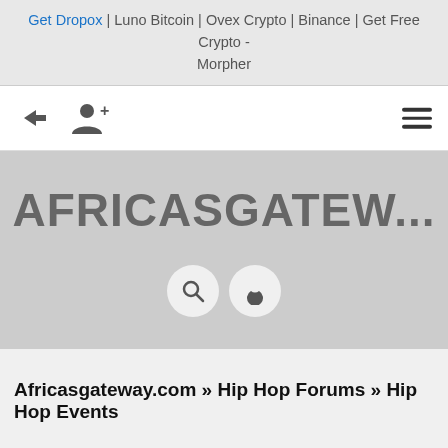Get Dropox | Luno Bitcoin | Ovex Crypto | Binance | Get Free Crypto - Morpher
[Figure (screenshot): Navigation bar with login icon, user icon on the left, and hamburger menu icon on the right]
AFRICASGATEW...
[Figure (infographic): Two circular icon buttons: search magnifying glass and moon/dark mode toggle]
Africasgateway.com » Hip Hop Forums » Hip Hop Events